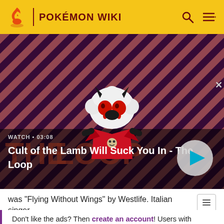POKÉMON WIKI
[Figure (screenshot): Video thumbnail for 'Cult of the Lamb Will Suck You In - The Loop' showing a cartoon lamb character with red eyes against a diagonal striped dark red/purple background with THE LOOP text. Duration 03:08 shown. Play button visible.]
was "Flying Without Wings" by Westlife. Italian singer
Don't like the ads? Then create an account! Users with accounts will only see ads on the Main Page and have more options than anonymous users.